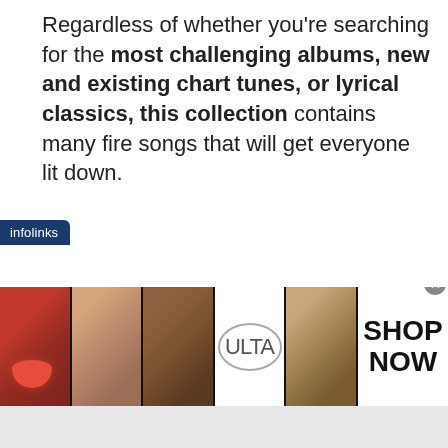Regardless of whether you're searching for the most challenging albums, new and existing chart tunes, or lyrical classics, this collection contains many fire songs that will get everyone lit down.
[Figure (infographic): Infolinks advertisement banner showing cosmetics/makeup images (lips with lipstick, makeup brush, eye with dark makeup, ULTA Beauty logo, smoky eye) with a 'SHOP NOW' call to action on white background. Infolinks tab label in dark blue at top left corner. Close button (x) at top right.]